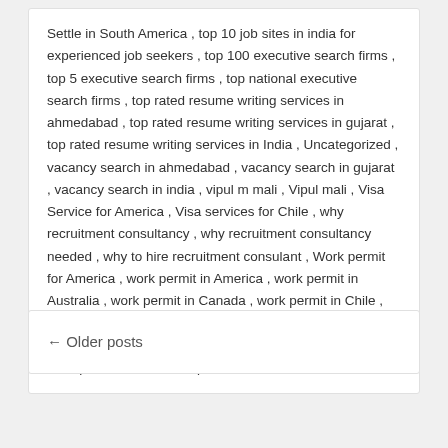Settle in South America , top 10 job sites in india for experienced job seekers , top 100 executive search firms , top 5 executive search firms , top national executive search firms , top rated resume writing services in ahmedabad , top rated resume writing services in gujarat , top rated resume writing services in India , Uncategorized , vacancy search in ahmedabad , vacancy search in gujarat , vacancy search in india , vipul m mali , Vipul mali , Visa Service for America , Visa services for Chile , why recruitment consultancy , why recruitment consultancy needed , why to hire recruitment consulant , Work permit for America , work permit in America , work permit in Australia , work permit in Canada , work permit in Chile , work permit in New Zealand , work permit in South America , work permit in UK , work permit in Uruguay , work permit in US , work permit in USA
← Older posts